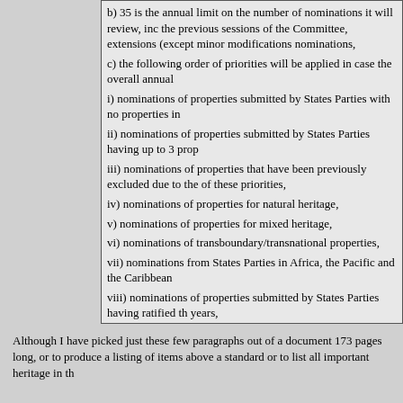b) 35 is the annual limit on the number of nominations it will review, including previous sessions of the Committee, extensions (except minor modifications and nominations,
c) the following order of priorities will be applied in case the overall annual
i) nominations of properties submitted by States Parties with no properties in
ii) nominations of properties submitted by States Parties having up to 3 prop
iii) nominations of properties that have been previously excluded due to the of these priorities,
iv) nominations of properties for natural heritage,
v) nominations of properties for mixed heritage,
vi) nominations of transboundary/transnational properties,
vii) nominations from States Parties in Africa, the Pacific and the Caribbean
viii) nominations of properties submitted by States Parties having ratified th years,
ix) nominations of properties submitted by States Parties that have not subm
x) when applying this priority system, date of receipt of full and complete no used as a secondary factor to determine the priority between those nominatio points.
d) the States Parties co-authors of a transboundary or transnational serial no common understanding, the State Party which will be bearing this nominatio within the ceiling of the bearing State Party.
The impact of this decision will be evaluated at the Committee's 35th sessio
Although I have picked just these few paragraphs out of a document 173 pages long, or to produce a listing of items above a standard or to list all important heritage in th